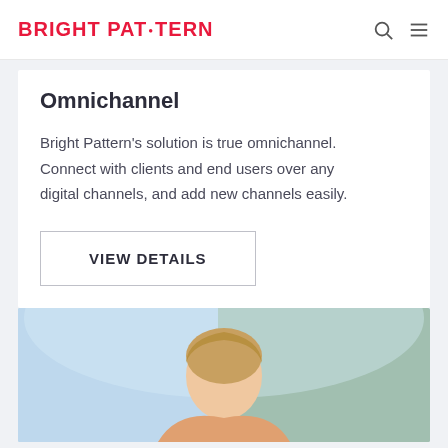BRIGHT PATTERN
Omnichannel
Bright Pattern's solution is true omnichannel. Connect with clients and end users over any digital channels, and add new channels easily.
VIEW DETAILS
[Figure (photo): Partial view of a person, likely a customer service representative, with a blurred outdoor background]